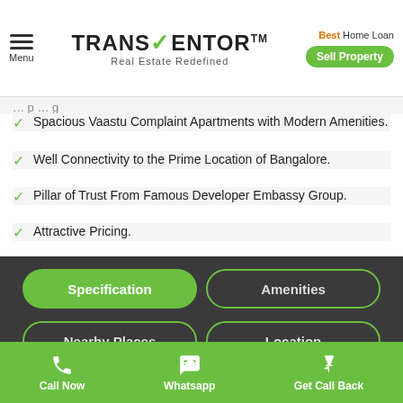Menu | TRANSVENTOR TM Real Estate Redefined | Best Home Loan | Sell Property
Spacious Vaastu Complaint Apartments with Modern Amenities.
Well Connectivity to the Prime Location of Bangalore.
Pillar of Trust From Famous Developer Embassy Group.
Attractive Pricing.
Specification | Amenities | Nearby Places | Location
1 BHK
SuperBuildUp Area: 607 - 696 sqft
Carpet Area: Call for Details
Call Now | Whatsapp | Get Call Back